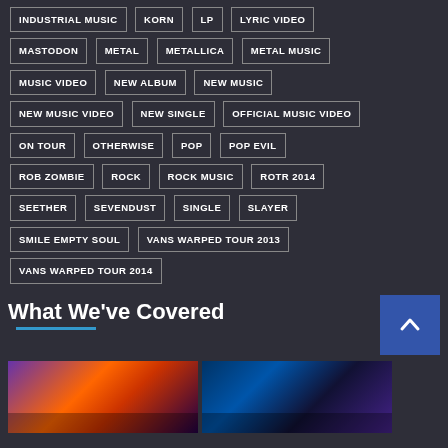INDUSTRIAL MUSIC
KORN
LP
LYRIC VIDEO
MASTODON
METAL
METALLICA
METAL MUSIC
MUSIC VIDEO
NEW ALBUM
NEW MUSIC
NEW MUSIC VIDEO
NEW SINGLE
OFFICIAL MUSIC VIDEO
ON TOUR
OTHERWISE
POP
POP EVIL
ROB ZOMBIE
ROCK
ROCK MUSIC
ROTR 2014
SEETHER
SEVENDUST
SINGLE
SLAYER
SMILE EMPTY SOUL
VANS WARPED TOUR 2013
VANS WARPED TOUR 2014
What We've Covered
[Figure (photo): Two thumbnail images below the What We've Covered section header]